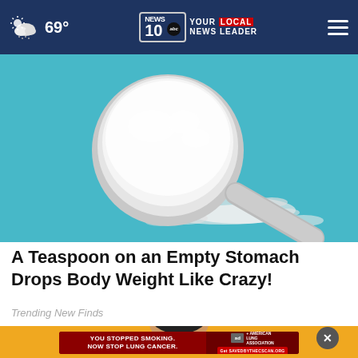69° NEWS10 YOUR LOCAL NEWS LEADER
[Figure (photo): Close-up photo of white powder in a metal measuring spoon on a bright blue background, with scattered powder around it]
A Teaspoon on an Empty Stomach Drops Body Weight Like Crazy!
Trending New Finds
[Figure (photo): Advertisement banner showing a woman's face at top and American Lung Association anti-smoking ad: 'YOU STOPPED SMOKING. NOW STOP LUNG CANCER.' with close button]